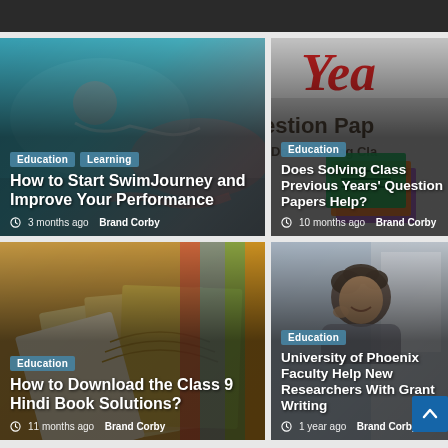[Figure (photo): Swimmer at pool, education/learning article card]
How to Start SwimJourney and Improve Your Performance
3 months ago  Brand Corby
[Figure (photo): Question papers image with stacked green papers]
Does Solving Class Previous Years' Question Papers Help?
10 months ago  Brand Corby
[Figure (photo): Open book with colorful pages, education card]
How to Download the Class 9 Hindi Book Solutions?
11 months ago  Brand Corby
[Figure (photo): Student/researcher smiling at desk near window]
University of Phoenix Faculty Help New Researchers With Grant Writing
1 year ago  Brand Corby